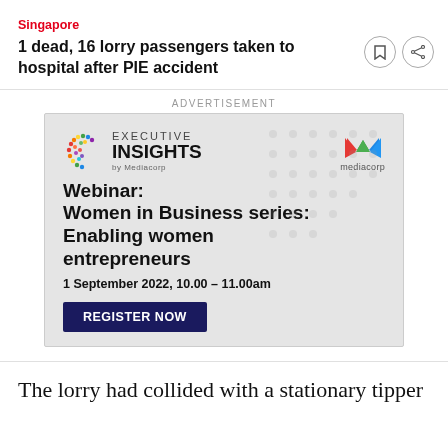Singapore
1 dead, 16 lorry passengers taken to hospital after PIE accident
ADVERTISEMENT
[Figure (infographic): Executive Insights by Mediacorp advertisement banner. Contains colorful globe logo, Mediacorp logo, text: Webinar: Women in Business series: Enabling women entrepreneurs. 1 September 2022, 10.00 – 11.00am. Register Now button.]
The lorry had collided with a stationary tipper